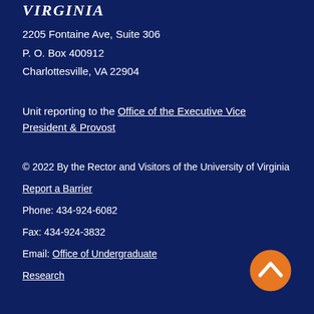[Figure (logo): University of Virginia logo/wordmark (partial, top of footer)]
2205 Fontaine Ave, Suite 306
P. O. Box 400912
Charlottesville, VA 22904
Unit reporting to the Office of the Executive Vice President & Provost
© 2022 By the Rector and Visitors of the University of Virginia
Report a Barrier
Phone: 434-924-6082
Fax: 434-924-3832
Email: Office of Undergraduate Research
[Figure (illustration): Orange circular back-to-top button with upward chevron arrow]